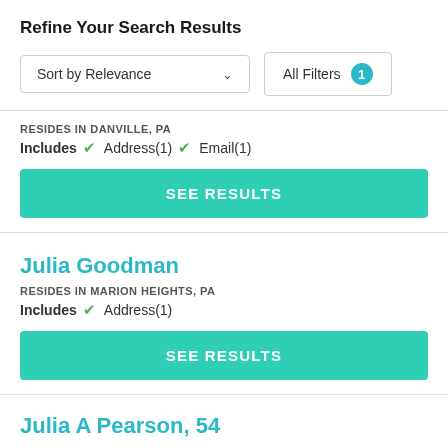Refine Your Search Results
[Figure (screenshot): UI controls: Sort by Relevance dropdown and All Filters button with badge showing 1]
RESIDES IN DANVILLE, PA
Includes ✓ Address(1) ✓ Email(1)
[Figure (screenshot): SEE RESULTS button (teal/green)]
Julia Goodman
RESIDES IN MARION HEIGHTS, PA
Includes ✓ Address(1)
[Figure (screenshot): SEE RESULTS button (teal/green)]
Julia A Pearson, 54